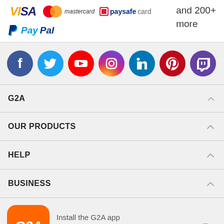[Figure (logo): Payment method logos: VISA, Mastercard, Paysafecard, PayPal, and 200+ more]
[Figure (illustration): Social media icons: Facebook, Twitter, YouTube, Instagram, LinkedIn, Pinterest, Twitch]
G2A
OUR PRODUCTS
HELP
BUSINESS
[Figure (logo): G2A app icon with orange background]
Install the G2A app Get great deals on games wherever you go!